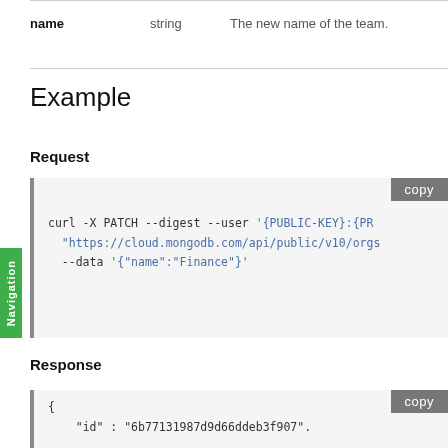| name | type | description |
| --- | --- | --- |
| name | string | The new name of the team. |
Example
Request
curl -X PATCH --digest --user '{PUBLIC-KEY}:{PR "https://cloud.mongodb.com/api/public/v10/orgs --data '{"name":"Finance"}'
Response
{ "id" : "6b77131987d9d66ddeb3f907".